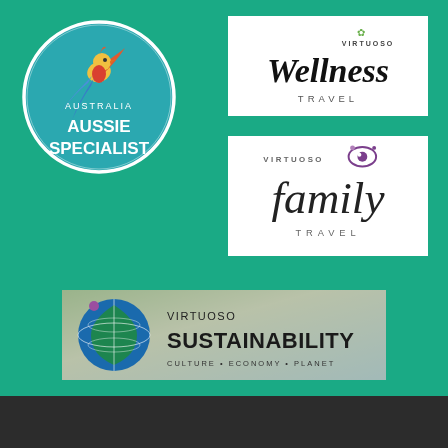[Figure (logo): Australia Aussie Specialist badge — teal circle with white border, bird/phoenix graphic, text AUSTRALIA above AUSSIE SPECIALIST]
[Figure (logo): Virtuoso Wellness Travel logo on white background — script italic 'Wellness' with small green leaf above, 'VIRTUOSO' in small caps above, 'TRAVEL' below in spaced caps]
[Figure (logo): Virtuoso Family Travel logo on white background — 'VIRTUOSO' in small spaced caps with stylized eye icon, large italic 'family' below, 'TRAVEL' in spaced caps]
[Figure (logo): Virtuoso Sustainability logo on nature photo background — blue globe/leaf icon left, 'VIRTUOSO SUSTAINABILITY' text, 'CULTURE • ECONOMY • PLANET' tagline]